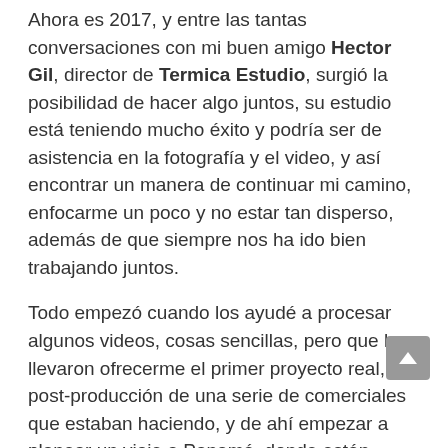Ahora es 2017, y entre las tantas conversaciones con mi buen amigo Hector Gil, director de Termica Estudio, surgió la posibilidad de hacer algo juntos, su estudio está teniendo mucho éxito y podría ser de asistencia en la fotografía y el video, y así encontrar un manera de continuar mi camino, enfocarme un poco y no estar tan disperso, además de que siempre nos ha ido bien trabajando juntos.
Todo empezó cuando los ayudé a procesar algunos videos, cosas sencillas, pero que les llevaron ofrecerme el primer proyecto real, la post-producción de una serie de comerciales que estaban haciendo, y de ahí empezar a planear un viaje a Panamá, donde están establecidos ahora.
Aunque es algo que he hecho muchas veces, al llegar el momento me di cuenta de que estaba desactualizado de todo, casi no recordaba cómo usar el software, todo había evolucionado mucho, tuve que re-aprenderlo todo, algo no tan difícil, lo...